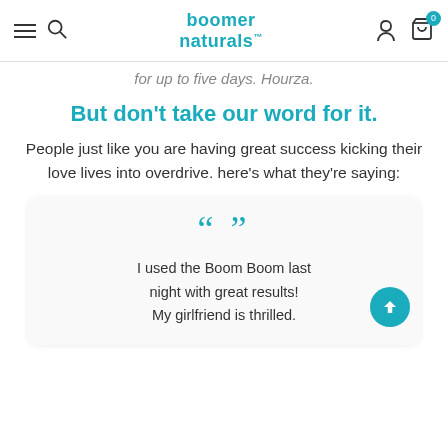boomer naturals
for up to five days. Hourza.
But don't take our word for it.
People just like you are having great success kicking their love lives into overdrive. here's what they're saying:
I used the Boom Boom last night with great results! My girlfriend is thrilled.